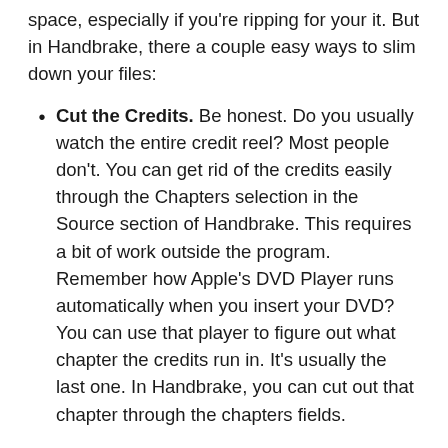space, especially if you're ripping for your it. But in Handbrake, there a couple easy ways to slim down your files:
Cut the Credits. Be honest. Do you usually watch the entire credit reel? Most people don't. You can get rid of the credits easily through the Chapters selection in the Source section of Handbrake. This requires a bit of work outside the program. Remember how Apple's DVD Player runs automatically when you insert your DVD? You can use that player to figure out what chapter the credits run in. It's usually the last one. In Handbrake, you can cut out that chapter through the chapters fields.
Trim Down the Video. Movies, by their very